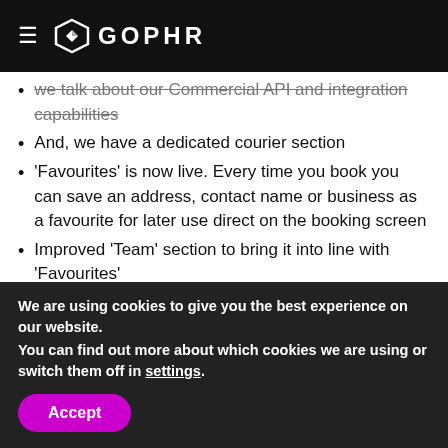GOPHR
we talk about our Commercial API and integration capabilities
And, we have a dedicated courier section
'Favourites' is now live. Every time you book you can save an address, contact name or business as a favourite for later use direct on the booking screen
Improved 'Team' section to bring it into line with 'Favourites'
Improved 'Active Jobs' section so you can tab
We are using cookies to give you the best experience on our website.
You can find out more about which cookies we are using or switch them off in settings.